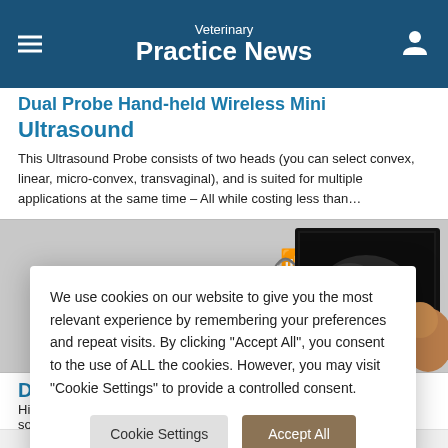Veterinary Practice News
Ultrasound
This Ultrasound Probe consists of two heads (you can select convex, linear, micro-convex, transvaginal), and is suited for multiple applications at the same time – All while costing less than...
[Figure (photo): Ultrasound device with wireless probe icon and ultrasound screen showing animal scan image]
D...
Hig... sof...
We use cookies on our website to give you the most relevant experience by remembering your preferences and repeat visits. By clicking "Accept All", you consent to the use of ALL the cookies. However, you may visit "Cookie Settings" to provide a controlled consent.